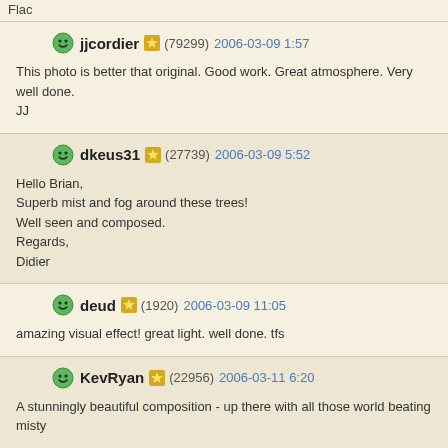Flac
jjcordier (79299) 2006-03-09 1:57
This photo is better that original. Good work. Great atmosphere. Very well done.
JJ
dkeus31 (27739) 2006-03-09 5:52
Hello Brian,
Superb mist and fog around these trees!
Well seen and composed.
Regards,
Didier
deud (1920) 2006-03-09 11:05
amazing visual effect! great light. well done. tfs
KevRyan (22956) 2006-03-11 6:20
A stunningly beautiful composition - up there with all those world beating misty...